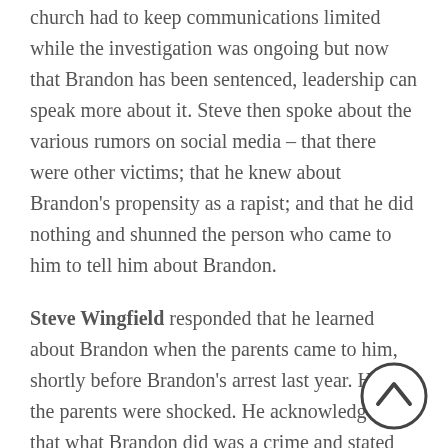church had to keep communications limited while the investigation was ongoing but now that Brandon has been sentenced, leadership can speak more about it. Steve then spoke about the various rumors on social media – that there were other victims; that he knew about Brandon's propensity as a rapist; and that he did nothing and shunned the person who came to him to tell him about Brandon.
Steve Wingfield responded that he learned about Brandon when the parents came to him, shortly before Brandon's arrest last year. He and the parents were shocked. He acknowledged that what Brandon did was a crime and stated that he would in no way hide something like that had he learned about it beforehand. He also said he would not dismiss a parent's concern about his or her child. He implied that the person who came to him either had an agenda of sorts or was a previous molestation victim and needed to lash out or hurt someone but,